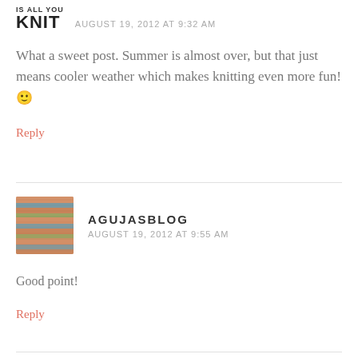[Figure (logo): IS ALL YOU KNIT blog logo with bold KNIT text]
AUGUST 19, 2012 AT 9:32 AM
What a sweet post. Summer is almost over, but that just means cooler weather which makes knitting even more fun! 🙂
Reply
[Figure (photo): Knitted fabric avatar image with orange, blue, and green yarn texture]
AGUJASBLOG
AUGUST 19, 2012 AT 9:55 AM
Good point!
Reply